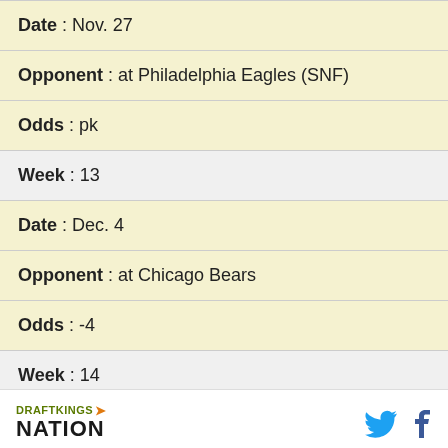| Date : Nov. 27 |
| Opponent : at Philadelphia Eagles (SNF) |
| Odds : pk |
| Week : 13 |
| Date : Dec. 4 |
| Opponent : at Chicago Bears |
| Odds : -4 |
| Week : 14 |
| Date : BYE |
| Opponent : |
DRAFTKINGS NATION